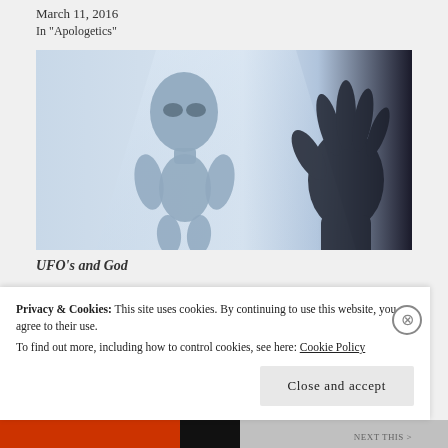March 11, 2016
In "Apologetics"
[Figure (photo): A grey alien figure standing upright on the left, and a dark shadow silhouette of a hand raised on the right, against a light blue-white background.]
UFO's and God
Privacy & Cookies: This site uses cookies. By continuing to use this website, you agree to their use.
To find out more, including how to control cookies, see here: Cookie Policy
Close and accept